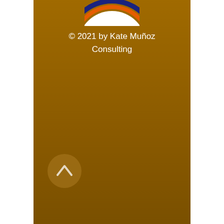[Figure (logo): Partial circular badge/logo showing 'ASSOCIATE CERTIFIED COACH' text in blue on white background with orange and navy blue ring borders, cropped at top]
© 2021 by Kate Muñoz Consulting
[Figure (other): Circular back-to-top button with an upward-pointing chevron arrow, semi-transparent brownish color]